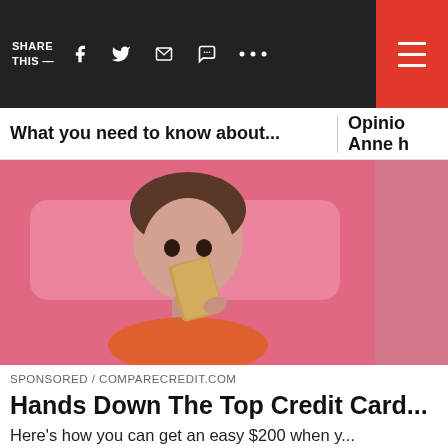SHARE THIS — [social icons: facebook, twitter, email, message, more] [hamburger menu]
What you need to know about...
Opinion Anne h
[Figure (photo): Young woman with dark hair and bangs, wearing an orange top, holding a gold/tan colored card up near her face, smiling slightly. Pink background.]
SPONSORED / COMPARECREDIT.COM
Hands Down The Top Credit Card...
Here's how you can get an easy $200 when y...
View in the NBC News app